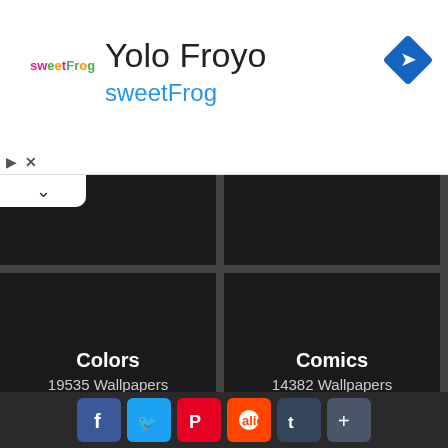[Figure (screenshot): Ad banner for sweetFrog Yolo Froyo with logo, title, subtitle, navigation icon, and ad controls]
Colors
19535 Wallpapers
Comics
14382 Wallpapers
Fantasy
4504 Wallpapers
Flower
1743 Wallpapers
[Figure (infographic): Social share bar with Facebook, Twitter, Pinterest, Reddit, Tumblr, and More buttons]